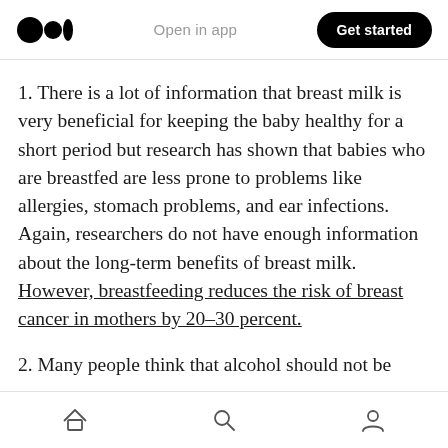Medium logo | Open in app | Get started
1. There is a lot of information that breast milk is very beneficial for keeping the baby healthy for a short period but research has shown that babies who are breastfed are less prone to problems like allergies, stomach problems, and ear infections. Again, researchers do not have enough information about the long-term benefits of breast milk. However, breastfeeding reduces the risk of breast cancer in mothers by 20–30 percent.
2. Many people think that alcohol should not be
Home | Search | Profile